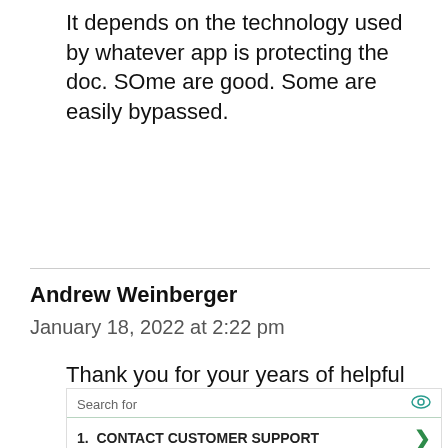It depends on the technology used by whatever app is protecting the doc. SOme are good. Some are easily bypassed.
Reply
Andrew Weinberger
January 18, 2022 at 2:22 pm
Thank you for your years of helpful comments and information.
[Figure (other): Advertisement overlay with search results: 'Search for' header with eye icon, item 1: CONTACT CUSTOMER SUPPORT with green arrow, item 2: EMAIL ADDRESS SEARCH with green arrow, footer: Ad | Business Focus with play icon]